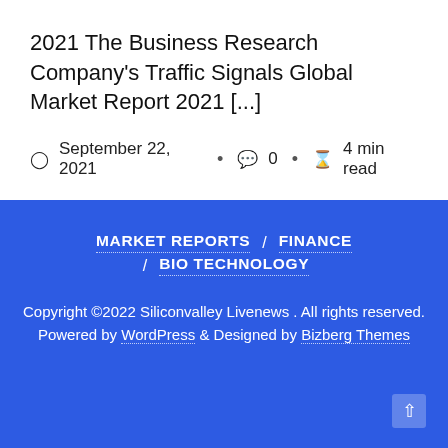2021 The Business Research Company's Traffic Signals Global Market Report 2021 [...]
September 22, 2021 · 0 · 4 min read
MARKET REPORTS / FINANCE / BIO TECHNOLOGY
Copyright ©2022 Siliconvalley Livenews . All rights reserved. Powered by WordPress & Designed by Bizberg Themes